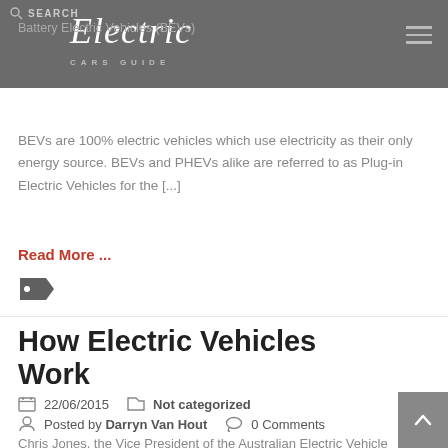SEARCH | Electric CARS GUIDE
Battery Electric Vehicles (BEVs)
BEVs are 100% electric vehicles which use electricity as their only energy source. BEVs and PHEVs alike are referred to as Plug-in Electric Vehicles for the [...]
Read More ...
How Electric Vehicles Work
22/06/2015   Not categorized   Posted by Darryn Van Hout   0 Comments
Chris Jones, the Vice President of the Australian Electric Vehicle